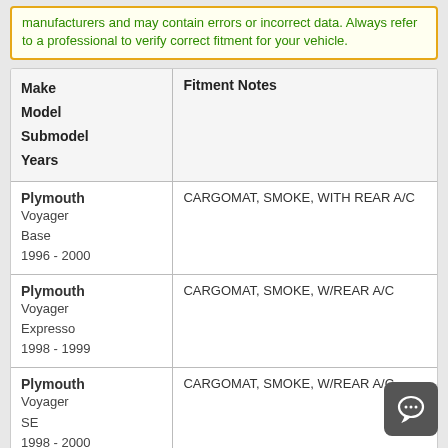manufacturers and may contain errors or incorrect data. Always refer to a professional to verify correct fitment for your vehicle.
| Make
Model
Submodel
Years | Fitment Notes |
| --- | --- |
| Plymouth
Voyager
Base
1996 - 2000 | CARGOMAT, SMOKE, WITH REAR A/C |
| Plymouth
Voyager
Expresso
1998 - 1999 | CARGOMAT, SMOKE, W/REAR A/C |
| Plymouth
Voyager
SE
1998 - 2000 | CARGOMAT, SMOKE, W/REAR A/C |
| Plymouth
Voyager | CARGOMAT, SMOKE, WITH REAR A/C |